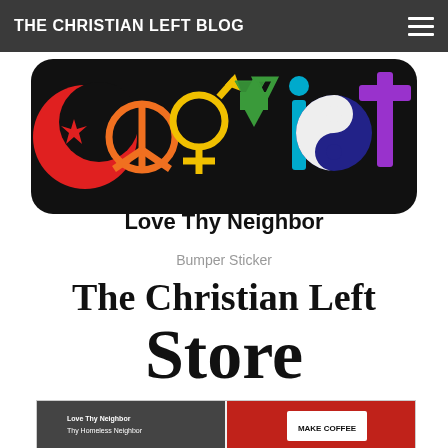THE CHRISTIAN LEFT BLOG
[Figure (illustration): Coexist bumper sticker with religious symbols spelling COEXIST — crescent moon (C), peace sign (O), gender symbol (E), Star of David (X), dot/wheel (I), yin-yang (S), cross (T) — with text 'Love Thy Neighbor' below]
Bumper Sticker
The Christian Left Store
[Figure (photo): Two people wearing The Christian Left store t-shirts — left: dark shirt with 'Love Thy Neighbor / Thy Homeless Neighbor' text, right: red shirt with 'Make Coffee' and sunrise graphic]